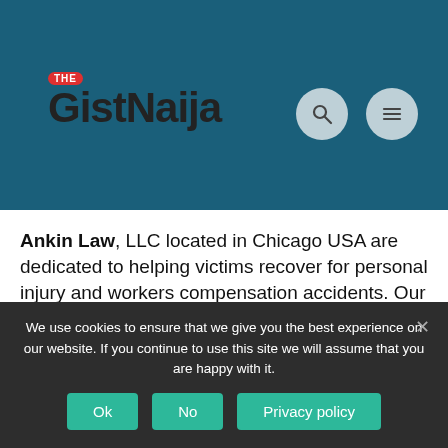[Figure (logo): TheGistNaija website header logo with teal/dark blue background, red pill-shaped badge with 'THE' text, and bold 'GistNaija' wordmark in dark text.]
Ankin Law, LLC located in Chicago USA are dedicated to helping victims recover for personal injury and workers compensation accidents. Our Chicago accident attorneys are experienced, results-driven, and passionate
We use cookies to ensure that we give you the best experience on our website. If you continue to use this site we will assume that you are happy with it.
Ok  No  Privacy policy